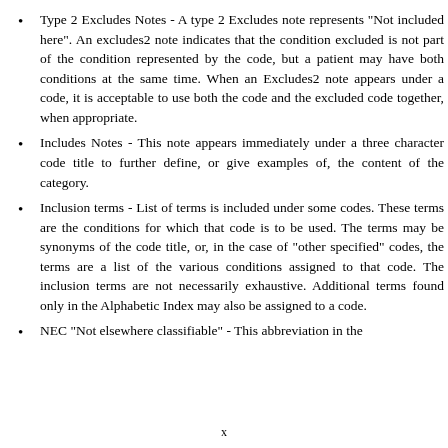Type 2 Excludes Notes - A type 2 Excludes note represents "Not included here". An excludes2 note indicates that the condition excluded is not part of the condition represented by the code, but a patient may have both conditions at the same time. When an Excludes2 note appears under a code, it is acceptable to use both the code and the excluded code together, when appropriate.
Includes Notes - This note appears immediately under a three character code title to further define, or give examples of, the content of the category.
Inclusion terms - List of terms is included under some codes. These terms are the conditions for which that code is to be used. The terms may be synonyms of the code title, or, in the case of "other specified" codes, the terms are a list of the various conditions assigned to that code. The inclusion terms are not necessarily exhaustive. Additional terms found only in the Alphabetic Index may also be assigned to a code.
NEC "Not elsewhere classifiable" - This abbreviation in the
x